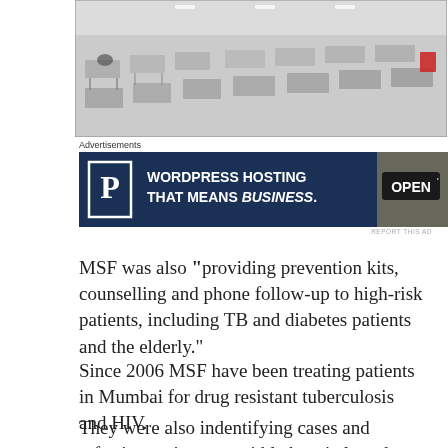[Figure (photo): Black and white photo of an empty medical ward or field hospital with rows of cots/beds and folding tables, viewed from an overhead angle. A red chair is visible in the background.]
Advertisements
[Figure (other): Advertisement banner for Pressable WordPress Hosting reading: WORDPRESS HOSTING THAT MEANS BUSINESS. with a P logo on dark blue background and an OPEN sign on the right side.]
REPORT THIS AD
MSF was also "providing prevention kits, counselling and phone follow-up to high-risk patients, including TB and diabetes patients and the elderly."
Since 2006 MSF have been treating patients in Mumbai for drug resistant tuberculosis and HIV.
They were also indentifying cases and referring patients to suitble hospitals and clinics.